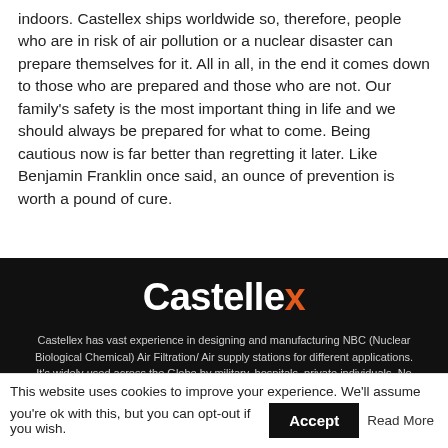indoors. Castellex ships worldwide so, therefore, people who are in risk of air pollution or a nuclear disaster can prepare themselves for it. All in all, in the end it comes down to those who are prepared and those who are not. Our family's safety is the most important thing in life and we should always be prepared for what to come. Being cautious now is far better than regretting it later. Like Benjamin Franklin once said, an ounce of prevention is worth a pound of cure.
[Figure (logo): Castellex logo on dark black background with white text and orange x letter]
Castellex has vast experience in designing and manufacturing NBC (Nuclear Biological Chemical) Air Filtration/ Air supply stations for different applications. It's widely used across the Globe by military, hospitals, private individuals. No
This website uses cookies to improve your experience. We'll assume you're ok with this, but you can opt-out if you wish. Accept Read More